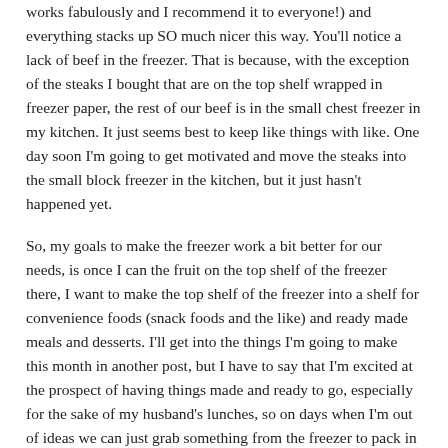works fabulously and I recommend it to everyone!) and everything stacks up SO much nicer this way. You'll notice a lack of beef in the freezer. That is because, with the exception of the steaks I bought that are on the top shelf wrapped in freezer paper, the rest of our beef is in the small chest freezer in my kitchen. It just seems best to keep like things with like. One day soon I'm going to get motivated and move the steaks into the small block freezer in the kitchen, but it just hasn't happened yet.
So, my goals to make the freezer work a bit better for our needs, is once I can the fruit on the top shelf of the freezer there, I want to make the top shelf of the freezer into a shelf for convenience foods (snack foods and the like) and ready made meals and desserts. I'll get into the things I'm going to make this month in another post, but I have to say that I'm excited at the prospect of having things made and ready to go, especially for the sake of my husband's lunches, so on days when I'm out of ideas we can just grab something from the freezer to pack in his lunch box.
With the potato shortage (no, really, this is a thing) causing